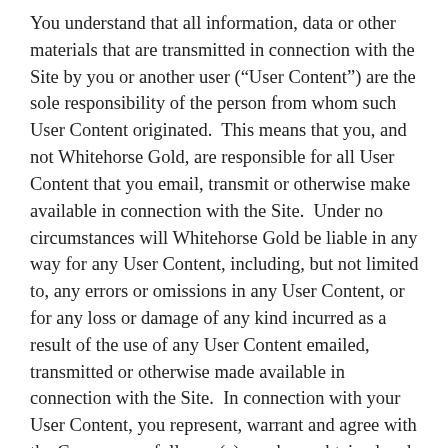You understand that all information, data or other materials that are transmitted in connection with the Site by you or another user (“User Content”) are the sole responsibility of the person from whom such User Content originated.  This means that you, and not Whitehorse Gold, are responsible for all User Content that you email, transmit or otherwise make available in connection with the Site.  Under no circumstances will Whitehorse Gold be liable in any way for any User Content, including, but not limited to, any errors or omissions in any User Content, or for any loss or damage of any kind incurred as a result of the use of any User Content emailed, transmitted or otherwise made available in connection with the Site.  In connection with your User Content, you represent, warrant and agree with the Company as follows: (a) you have obtained and are solely responsible for obtaining all